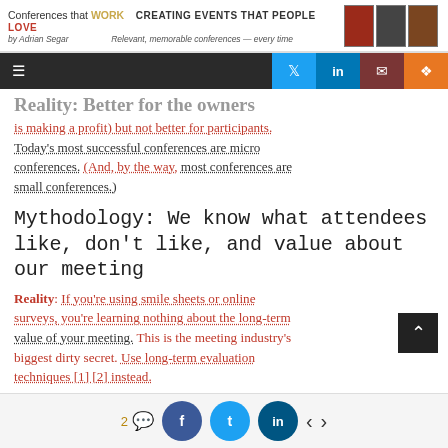Conferences that WORK  CREATING EVENTS THAT PEOPLE LOVE  by Adrian Segar  Relevant, memorable conferences — every time
Reality: Better for the owners
is making a profit) but not better for participants. Today's most successful conferences are micro conferences. (And, by the way, most conferences are small conferences.)
Mythodology: We know what attendees like, don't like, and value about our meeting
Reality: If you're using smile sheets or online surveys, you're learning nothing about the long-term value of your meeting. This is the meeting industry's biggest dirty secret. Use long-term evaluation techniques [1] [2] instead.
2 comments  f  t  in  < >